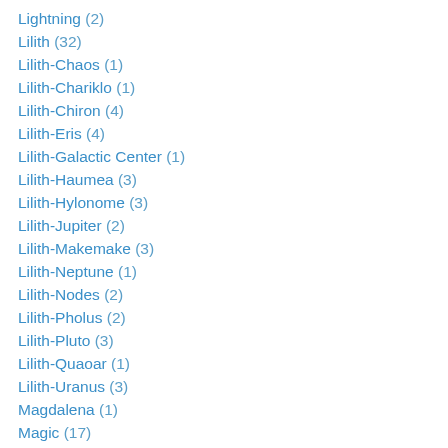Lightning (2)
Lilith (32)
Lilith-Chaos (1)
Lilith-Chariklo (1)
Lilith-Chiron (4)
Lilith-Eris (4)
Lilith-Galactic Center (1)
Lilith-Haumea (3)
Lilith-Hylonome (3)
Lilith-Jupiter (2)
Lilith-Makemake (3)
Lilith-Neptune (1)
Lilith-Nodes (2)
Lilith-Pholus (2)
Lilith-Pluto (3)
Lilith-Quaoar (1)
Lilith-Uranus (3)
Magdalena (1)
Magic (17)
Magic Mushroom (1)